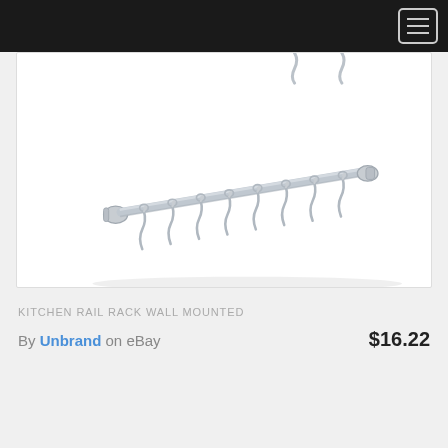[Figure (photo): A chrome/stainless steel kitchen rail rack with multiple S-hooks hanging along a horizontal rod, mounted with cylindrical end caps, photographed on white background]
KITCHEN RAIL RACK WALL MOUNTED
By Unbrand on eBay   $16.22